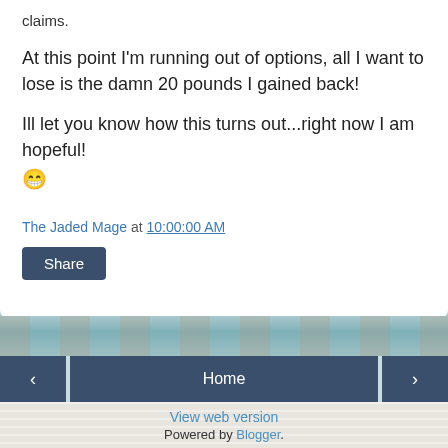claims.
At this point I'm running out of options, all I want to lose is the damn 20 pounds I gained back!
Ill let you know how this turns out...right now I am hopeful! 😁
The Jaded Mage at 10:00:00 AM
Share
Home
View web version
Powered by Blogger.